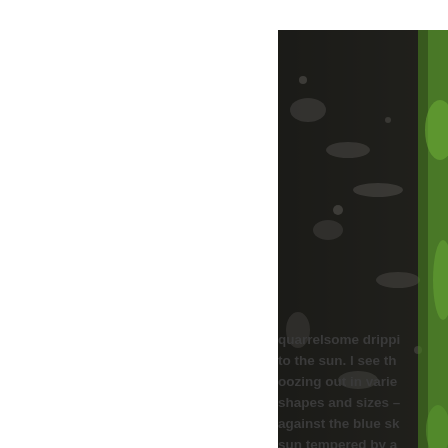[Figure (photo): Close-up photograph of a dark tree bark with green foliage visible in the background, cropped at the right edge of the page.]
quarrelsome dripping to the sun. I see the oozing out in varied shapes and sizes – against the blue sk sun tempered by a in seeing the young scooters.